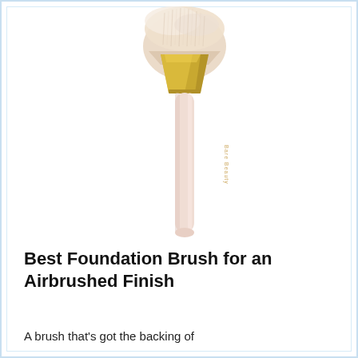[Figure (photo): A makeup foundation brush with soft pale pink/cream bristles angled at the tip, a polished gold ferrule, and a long pale pink cylindrical handle with 'Bare Beauty' text printed along the handle. The brush is shown vertically centered against a white background.]
Best Foundation Brush for an Airbrushed Finish
A brush that's got the backing of